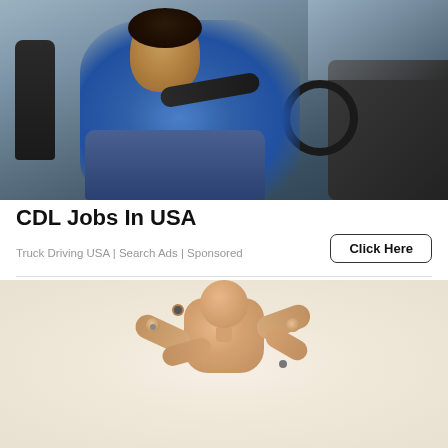[Figure (photo): Woman smiling while sitting in a truck cab, holding the steering wheel, wearing a blue jacket and jeans]
CDL Jobs In USA
Truck Driving USA | Search Ads | Sponsored
Click Here
[Figure (photo): Wooden articulated artist mannequin figure with arms crossed or bent, shown from the torso up on a light background]